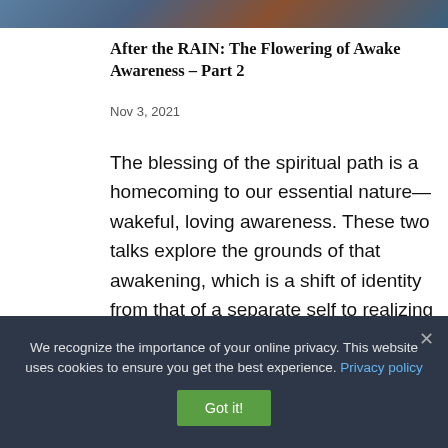[Figure (photo): Colorful artistic image cropped at top of page, partially visible]
After the RAIN: The Flowering of Awake Awareness – Part 2
Nov 3, 2021
The blessing of the spiritual path is a homecoming to our essential nature—wakeful, loving awareness. These two talks explore the grounds of that awakening, which is a shift of identity from that of a separate self to realizing the formless
We recognize the importance of your online privacy. This website uses cookies to ensure you get the best experience. Privacy policy  Got it!